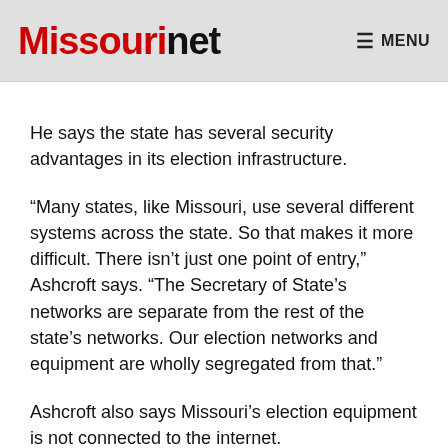Missourinet  MENU
He says the state has several security advantages in its election infrastructure.
“Many states, like Missouri, use several different systems across the state. So that makes it more difficult. There isn’t just one point of entry,” Ashcroft says. “The Secretary of State’s networks are separate from the rest of the state’s networks. Our election networks and equipment are wholly segregated from that.”
Ashcroft also says Missouri’s election equipment is not connected to the internet.
“If you were somehow able to get into a machine, you’d